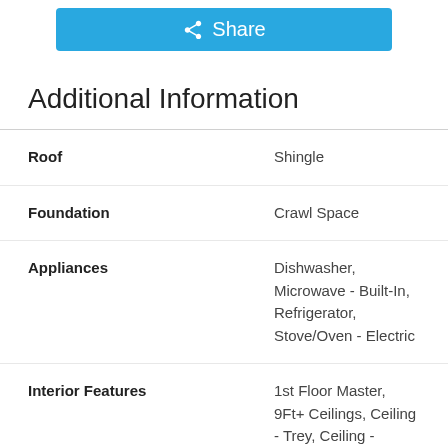[Figure (other): Share button, blue background with share icon and text 'Share']
Additional Information
| Field | Value |
| --- | --- |
| Roof | Shingle |
| Foundation | Crawl Space |
| Appliances | Dishwasher, Microwave - Built-In, Refrigerator, Stove/Oven - Electric |
| Interior Features | 1st Floor Master, 9Ft+ Ceilings, Ceiling - Trey, Ceiling - Vaulted, Ceiling Fan(s), Foyer, Gas Logs, Kitchen Island, Walk-In Closet, Whirlpool |
| Exterior Features | Open, Patio, Porch, Level, Open |